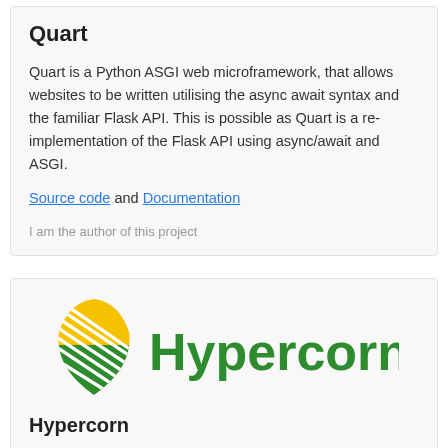Quart
Quart is a Python ASGI web microframework, that allows websites to be written utilising the async await syntax and the familiar Flask API. This is possible as Quart is a re-implementation of the Flask API using async/await and ASGI.
Source code and Documentation
I am the author of this project
[Figure (logo): Hypercorn logo: a stylized leaf/corn shape with yellow and green diagonal stripes, followed by the word 'Hypercorn' in green bold text]
Hypercorn
Hypercorn is a Python ASGI server, capable of serving